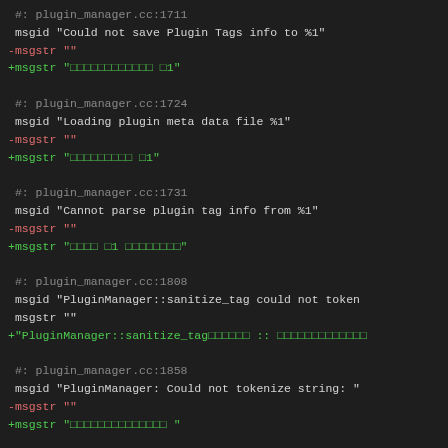#: plugin_manager.cc:1711
msgid "Could not save Plugin Tags info to %1"
-msgstr ""
+msgstr "\u30000000000000 \u30001"

#: plugin_manager.cc:1724
msgid "Loading plugin meta data file %1"
-msgstr ""
+msgstr "\u3000000000000 \u30001"

#: plugin_manager.cc:1731
msgid "Cannot parse plugin tag info from %1"
-msgstr ""
+msgstr "\u30000000 \u30001 \u3000000000"

#: plugin_manager.cc:1808
msgid "PluginManager::sanitize_tag could not token
msgstr ""
+"PluginManager::sanitize_tag\u3000000000 :: \u300000000000000

#: plugin_manager.cc:1858
msgid "PluginManager: Could not tokenize string: "
-msgstr ""
+msgstr "\u300000000000000000 "

#: port.cc:545
msgid "could not reregister %1"
@@ -2087,117 +2108,118 @@ msgstr "\u30000000 %1"

#: port_engine_shared.cc:50
msgid "PortEngine: Port property () is invalid (All)